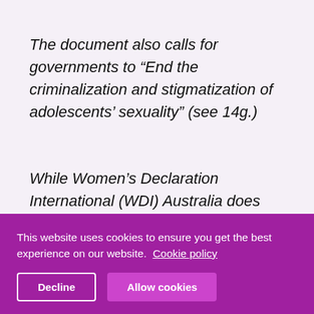The document also calls for governments to “End the criminalization and stigmatization of adolescents’ sexuality” (see 14g.)
While Women’s Declaration International (WDI) Australia does not want teenagers labelled sex offenders for consensual non-abusive sexual activity with their peers and supports unimpeded access to birth control and abortion, there is concern that these demands would remove the ability to protect children from exploitation by
This website uses cookies to ensure you get the best experience on our website. Cookie policy